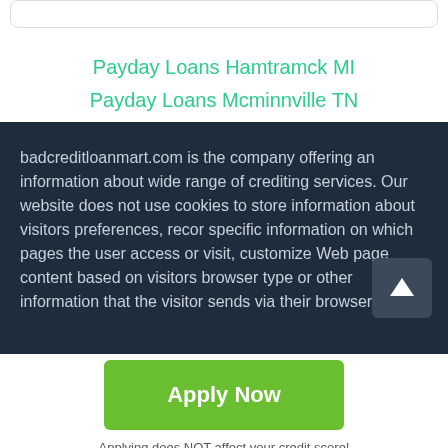Payday Loans Hamtramck MI
Payday Loans Mcminnville TN
badcreditloanmart.com is the company offering an information about wide range of crediting services. Our website does not use cookies to store information about visitors preferences, record specific information on which pages the user access or visit, customize Web page content based on visitors browser type or other information that the visitor sends via their browser. We
Apply Now
Applying does NOT affect your credit score!
No credit check to apply.